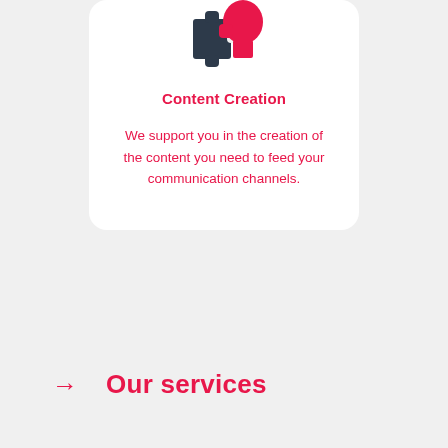[Figure (illustration): Icon showing a puzzle piece connected to a human head silhouette in pink/dark blue colors, representing content creation concept]
Content Creation
We support you in the creation of the content you need to feed your communication channels.
→ Our services